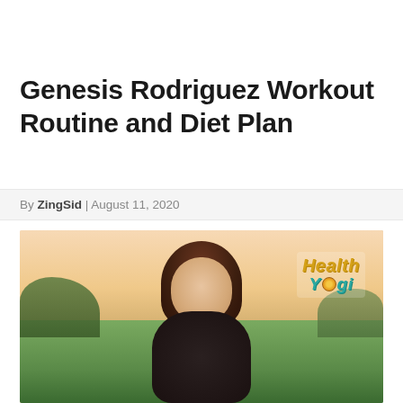Genesis Rodriguez Workout Routine and Diet Plan
By ZingSid | August 11, 2020
[Figure (photo): Young woman with long auburn hair wearing a dark floral top, standing in a green field with warm golden-hour sky. Health Yogi logo in upper right corner of the image.]